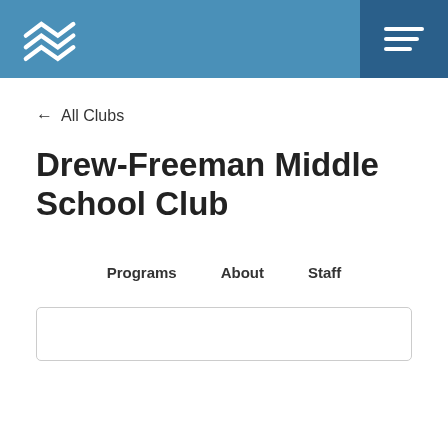[Figure (logo): Boys & Girls Club logo — white stacked chevron/wave marks on blue background, with hamburger menu icon on darker blue panel at right]
← All Clubs
Drew-Freeman Middle School Club
Programs   About   Staff
[Figure (other): Bottom portion of a white card/box with rounded corners and grey border, partially visible]